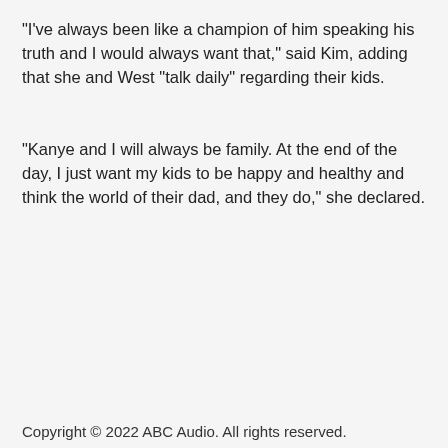"I've always been like a champion of him speaking his truth and I would always want that," said Kim, adding that she and West "talk daily" regarding their kids.
"Kanye and I will always be family. At the end of the day, I just want my kids to be happy and healthy and think the world of their dad, and they do," she declared.
Copyright © 2022 ABC Audio. All rights reserved.